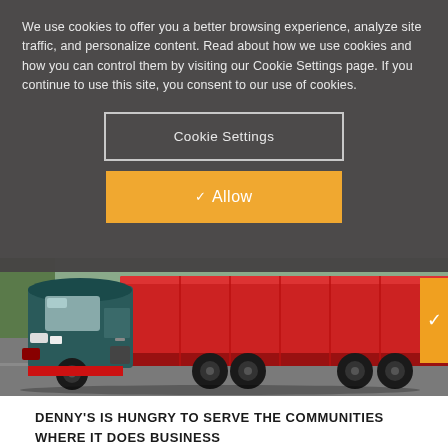We use cookies to offer you a better browsing experience, analyze site traffic, and personalize content. Read about how we use cookies and how you can control them by visiting our Cookie Settings page. If you continue to use this site, you consent to our use of cookies.
Cookie Settings
✓ Allow
[Figure (photo): A red semi-truck/trailer on a road, photographed from the side/front-left angle showing the cab and part of the red trailer]
DENNY'S IS HUNGRY TO SERVE THE COMMUNITIES
WHERE IT DOES BUSINESS